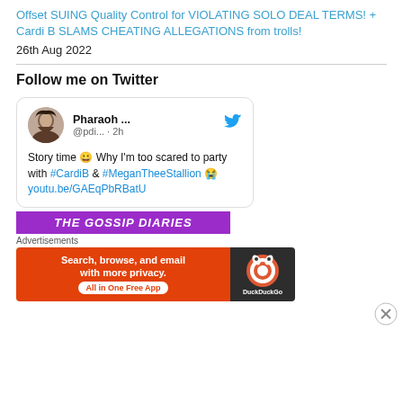Offset SUING Quality Control for VIOLATING SOLO DEAL TERMS! + Cardi B SLAMS CHEATING ALLEGATIONS from trolls!
26th Aug 2022
Follow me on Twitter
[Figure (screenshot): Embedded Twitter/X tweet card. Avatar photo of a woman. Username: Pharaoh ... @pdi... · 2h. Tweet text: Story time 😀 Why I'm too scared to party with #CardiB & #MeganTheeStallion 😭 youtu.be/GAEqPbRBatU. Twitter bird icon. THE GOSSIP DIARIES purple banner at bottom.]
Advertisements
[Figure (screenshot): DuckDuckGo advertisement banner. Orange left section: 'Search, browse, and email with more privacy. All in One Free App'. Dark right section with DuckDuckGo logo.]